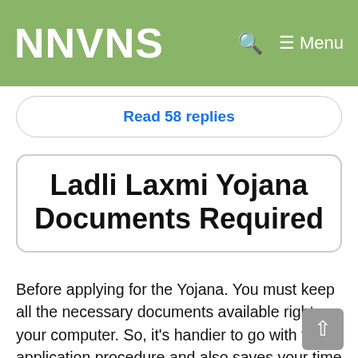NNVNS  🔍  ☰ Menu
Read 58 replies
Ladli Laxmi Yojana Documents Required
Before applying for the Yojana. You must keep all the necessary documents available right on your computer. So, it's handier to go with the application procedure and also saves your time and increases your efficiency. The mandatory documents are